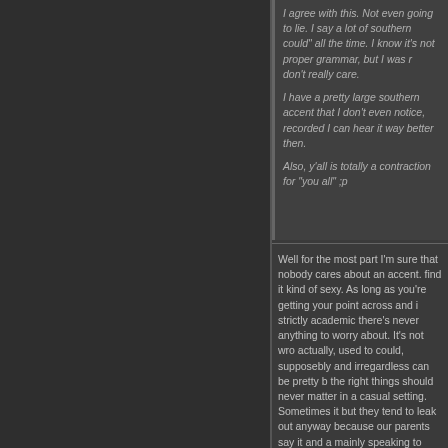I agree with this. Not even going to lie. I say a lot of southern could" all the time. I know it's not proper grammar, but I was r don't really care.

I have a pretty large southern accent that I don't even notice, recorded I can hear it way better then.

Also, y'all is totally a contraction for "you all" ;p
Well for the most part I'm sure that nobody cares about an accent. find it kind of sexy. As long as you're getting your point across and i strictly academic there's never anything to worry about. It's not wro actually, used to could, supposebly and irregardless can be pretty b the right things should never matter in a casual setting. Sometimes it but they tend to leak out anyway because our parents say it and a mainly speaking to everyone who isn't from the South:
Southern accents are by no means an indicator of poor educat
06-02-2010, 02:49 PM
Kate
Strong, independent woman. Also, Biceps made out of Steel C